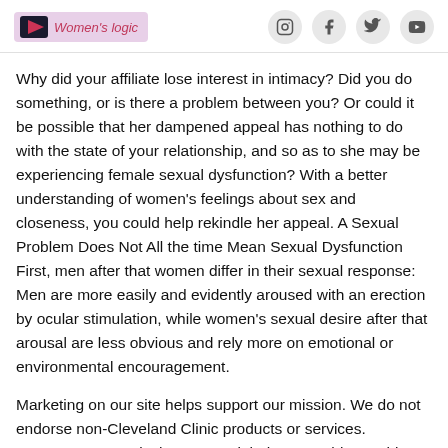Women's logic — social media icons (Instagram, Facebook, Twitter, YouTube)
Why did your affiliate lose interest in intimacy? Did you do something, or is there a problem between you? Or could it be possible that her dampened appeal has nothing to do with the state of your relationship, and so as to she may be experiencing female sexual dysfunction? With a better understanding of women's feelings about sex and closeness, you could help rekindle her appeal. A Sexual Problem Does Not All the time Mean Sexual Dysfunction First, men after that women differ in their sexual response: Men are more easily and evidently aroused with an erection by ocular stimulation, while women's sexual desire after that arousal are less obvious and rely more on emotional or environmental encouragement.
Marketing on our site helps support our mission. We do not endorse non-Cleveland Clinic products or services. Intercourse capacity hurt. You might have trouble reaching a